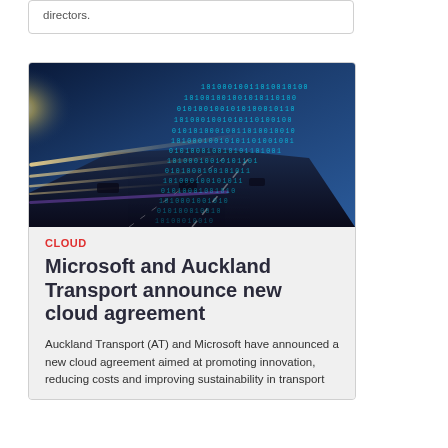directors.
[Figure (photo): A highway at night with motion-blur light trails and digital binary code overlay on a blue-toned background, representing technology and transport.]
CLOUD
Microsoft and Auckland Transport announce new cloud agreement
Auckland Transport (AT) and Microsoft have announced a new cloud agreement aimed at promoting innovation, reducing costs and improving sustainability in transport